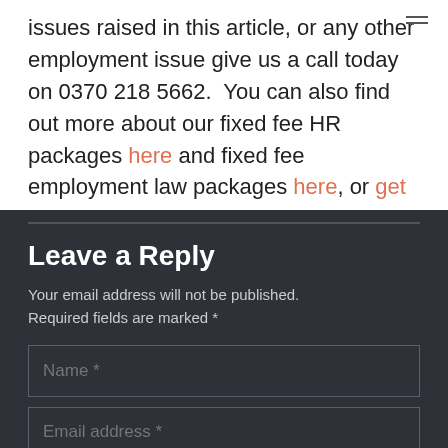issues raised in this article, or any other employment issue give us a call today on 0370 218 5662.  You can also find out more about our fixed fee HR packages here and fixed fee employment law packages here, or get in touch.
Leave a Reply
Your email address will not be published. Required fields are marked *
Name *
Email address *